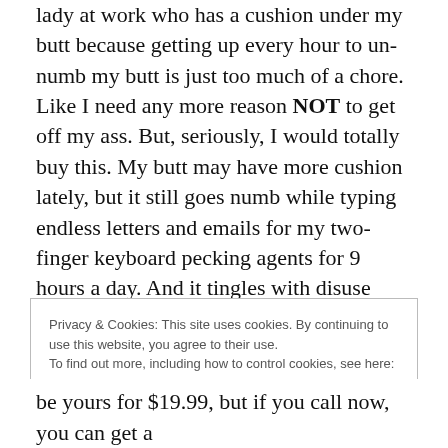lady at work who has a cushion under my butt because getting up every hour to un-numb my butt is just too much of a chore.  Like I need any more reason NOT to get off my ass.   But, seriously, I would totally buy this.  My butt may have more cushion lately, but it still goes numb while typing endless letters and emails for my two-finger keyboard pecking agents for 9 hours a day.  And it tingles with disuse during the tens of minutes I sit here every few days writing this eloquent, thought-provoking, and inspiring blog.  Plus the excruciating 20 minute commute I make twice daily from work to home is a real cheek killer.
Privacy & Cookies: This site uses cookies. By continuing to use this website, you agree to their use.
To find out more, including how to control cookies, see here: Cookie Policy
be yours for $19.99, but if you call now, you can get a